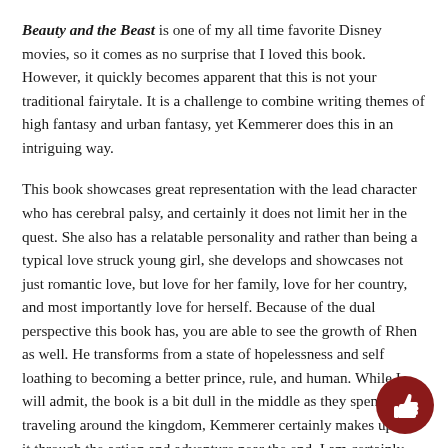Beauty and the Beast is one of my all time favorite Disney movies, so it comes as no surprise that I loved this book. However, it quickly becomes apparent that this is not your traditional fairytale. It is a challenge to combine writing themes of high fantasy and urban fantasy, yet Kemmerer does this in an intriguing way.
This book showcases great representation with the lead character who has cerebral palsy, and certainly it does not limit her in the quest. She also has a relatable personality and rather than being a typical love struck young girl, she develops and showcases not just romantic love, but love for her family, love for her country, and most importantly love for herself. Because of the dual perspective this book has, you are able to see the growth of Rhen as well. He transforms from a state of hopelessness and self loathing to becoming a better prince, rule, and human. While I will admit, the book is a bit dull in the middle as they spend traveling around the kingdom, Kemmerer certainly makes up for it through the action and adventure near the end. I am certainly excited to read the next book in the series and see where Kemmerer goes from here.
[Figure (illustration): Dark red circle with a white thumbs up icon]